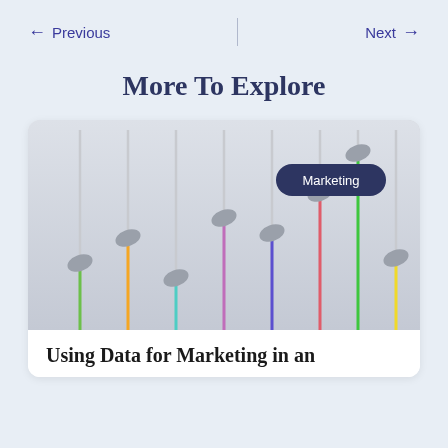← Previous | Next →
More To Explore
[Figure (illustration): 3D illustration of colorful vertical sliders/faders (green, orange, teal, purple, blue, pink/red, green, yellow, dark purple) with gray knobs, on a light gray background. A dark blue pill-shaped badge reads 'Marketing' in the upper right area.]
Using Data for Marketing in an